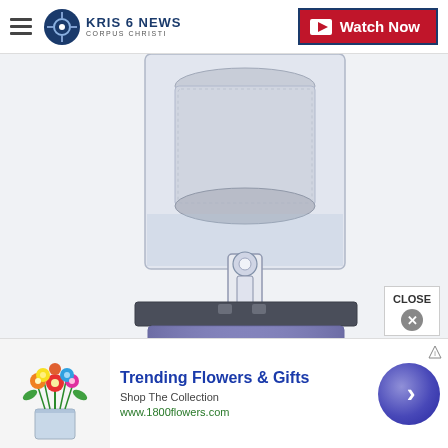KRIS 6 NEWS CORPUS CHRISTI | Watch Now
[Figure (photo): Close-up product photo of an air cooler or beverage dispenser appliance. The device has a clear transparent top reservoir section with a metal filter cylinder inside, a white toggle/latch mechanism in the middle section, a dark gray plastic base connector, and a light purple/lavender lower body with horizontal ventilation grilles. The background is white.]
CLOSE
[Figure (photo): Flower arrangement photo showing colorful mixed flowers in a vase — advertisement image for 1-800-Flowers.]
Trending Flowers & Gifts
Shop The Collection
www.1800flowers.com